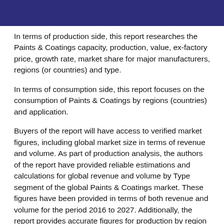In terms of production side, this report researches the Paints & Coatings capacity, production, value, ex-factory price, growth rate, market share for major manufacturers, regions (or countries) and type.
In terms of consumption side, this report focuses on the consumption of Paints & Coatings by regions (countries) and application.
Buyers of the report will have access to verified market figures, including global market size in terms of revenue and volume. As part of production analysis, the authors of the report have provided reliable estimations and calculations for global revenue and volume by Type segment of the global Paints & Coatings market. These figures have been provided in terms of both revenue and volume for the period 2016 to 2027. Additionally, the report provides accurate figures for production by region in terms of revenue as well as volume for the same